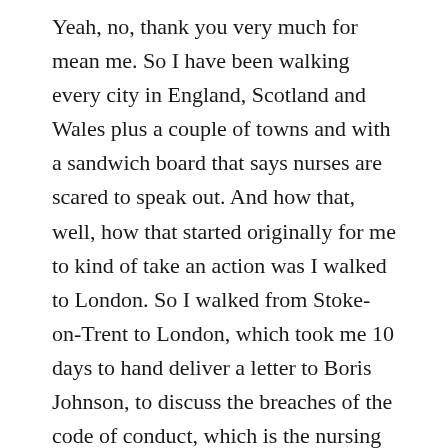Yeah, no, thank you very much for mean me. So I have been walking every city in England, Scotland and Wales plus a couple of towns and with a sandwich board that says nurses are scared to speak out. And how that, well, how that started originally for me to kind of take an action was I walked to London. So I walked from Stoke-on-Trent to London, which took me 10 days to hand deliver a letter to Boris Johnson, to discuss the breaches of the code of conduct, which is the nursing midwifery code of conduct. That was reported to me from thousands of nurses from all different backgrounds. So I felt really stuck. I felt like I needed to do something. I could see that there were lots of kind of rules in place that didn't seem to make sense. And I felt like people were being dehumanized wearing the masks. So I needed to take some action. So I walked from Stoke-on-Trent to London that took me 10 days. And then Boris